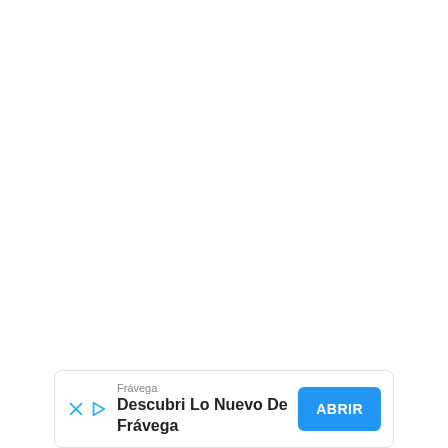[Figure (other): Advertisement banner for Fravega. Contains brand name 'Fravega', tagline 'Descubri Lo Nuevo De Frávega', close/skip icons (X and play button), and a blue 'ABRIR' (Open) call-to-action button.]